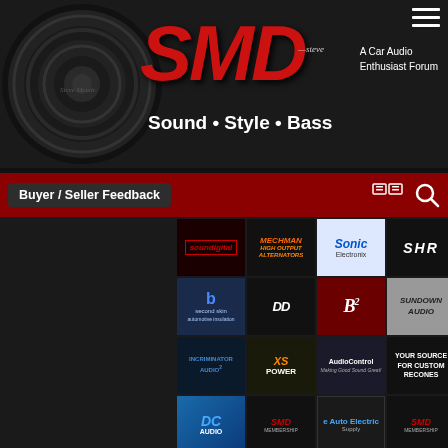[Figure (logo): SMD - Sound Style Bass car audio enthusiast forum logo with speaker graphic, red SMD letters, and tagline]
Buyer / Seller Feedback
[Figure (infographic): Grid of sponsor/advertiser logos including SoundDigital, Mechman High Output Alternators, Sonic Electronix, SHR, Second Skin Automotive Insulation, DD Audio, B2 Audio, Sundown Audio, Incriminator Audio, XS Power, AudioControl, Your Source For Custom Recones, DC Audio, SMD Membership, e Auto Electric Supply, SMD Membership]